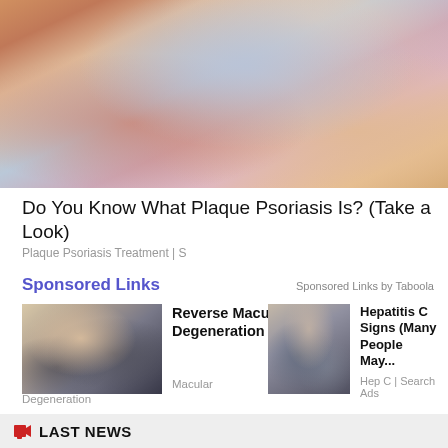[Figure (photo): Close-up photo of a foot/heel showing skin with redness and inflammation, consistent with plaque psoriasis symptoms]
Do You Know What Plaque Psoriasis Is? (Take a Look)
Plaque Psoriasis Treatment | S
Sponsored Links
Sponsored Links by Taboola
[Figure (photo): Photo of a woman with blonde hair touching her face near her eye]
Reverse Macular Degeneration (See How).
Macular
Degeneration
[Figure (photo): Photo showing a person's arm with skin spots or lesions]
Hepatitis C Signs (Many People May...
Hep C | Search Ads
LAST NEWS